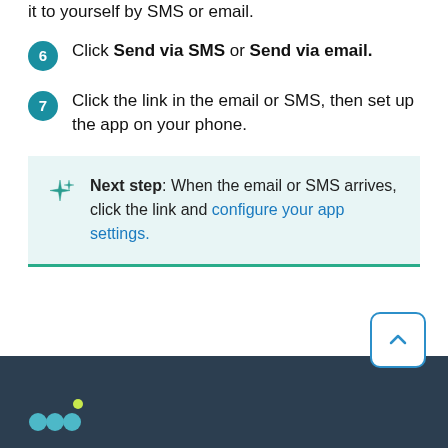it to yourself by SMS or email.
Click Send via SMS or Send via email.
Click the link in the email or SMS, then set up the app on your phone.
Next step: When the email or SMS arrives, click the link and configure your app settings.
[Figure (logo): mmi logo on dark footer]